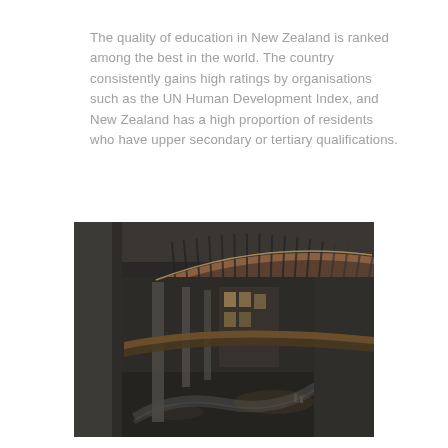The quality of education in New Zealand is ranked among the best in the world. The country consistently gains high ratings by organisations such as the UN Human Development Index, and New Zealand has a high proportion of residents who have upper secondary or tertiary qualifications.
[Figure (photo): Interior architectural photograph of a large modern building with a dramatic curved mezzanine/balcony structure featuring vertical slat details, a multi-story atrium with structural columns, and a ground floor with a winding path or water feature visible below.]